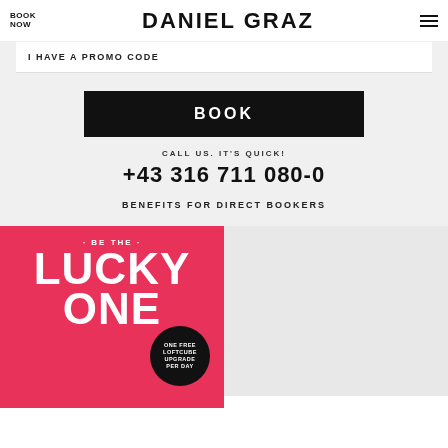BOOK NOW | DANIEL GRAZ
I HAVE A PROMO CODE
BOOK
CALL US. IT'S QUICK!
+43 316 711 080-0
BENEFITS FOR DIRECT BOOKERS
[Figure (illustration): Pink promotional panel with text 'BE THE LUCKY ONE' and a badge saying 'ONE FREE LOFTCUBE UPGRADE PER DAY']
[Figure (photo): Grey/empty right panel]